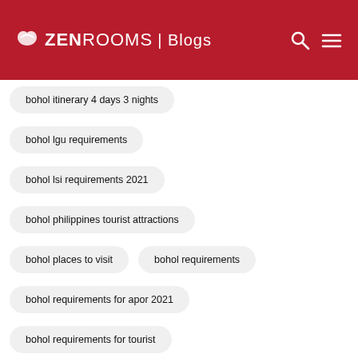ZEN ROOMS | Blogs
bohol itinerary 4 days 3 nights
bohol lgu requirements
bohol lsi requirements 2021
bohol philippines tourist attractions
bohol places to visit
bohol requirements
bohol requirements for apor 2021
bohol requirements for tourist
bohol river cruise
bohol scuba diving
bohol sightseeing
bohol snorkeling